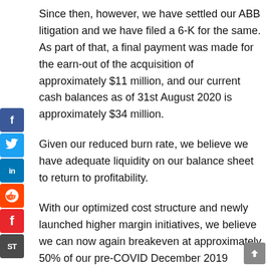Since then, however, we have settled our ABB litigation and we have filed a 6-K for the same. As part of that, a final payment was made for the earn-out of the acquisition of approximately $11 million, and our current cash balances as of 31st August 2020 is approximately $34 million.
Given our reduced burn rate, we believe we have adequate liquidity on our balance sheet to return to profitability.
With our optimized cost structure and newly launched higher margin initiatives, we believe we can now again breakeven at approximately 50% of our pre-COVID December 2019 quarter run rate of $22.2 million.
We are excited about our partnership with Zaggle on